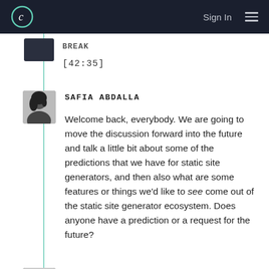Sign In
BREAK
[42:35]
SAFIA ABDALLA
Welcome back, everybody. We are going to move the discussion forward into the future and talk a little bit about some of the predictions that we have for static site generators, and then also what are some features or things we'd like to see come out of the static site generator ecosystem. Does anyone have a prediction or a request for the future?
KEVIN BALL